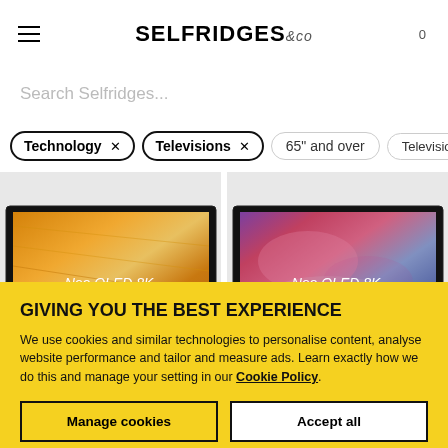SELFRIDGES &Co
Search Selfridges...
Technology × Televisions × 65" and over Television Acc...
[Figure (screenshot): Two Samsung Neo QLED 8K televisions displayed side by side on a light grey background. Left TV shows a golden sandy textured display, right TV shows a vibrant pink/blue galaxy-like display. Both labelled 'Neo QLED 8K'.]
GIVING YOU THE BEST EXPERIENCE
We use cookies and similar technologies to personalise content, analyse website performance and tailor and measure ads. Learn exactly how we do this and manage your setting in our Cookie Policy.
Manage cookies
Accept all